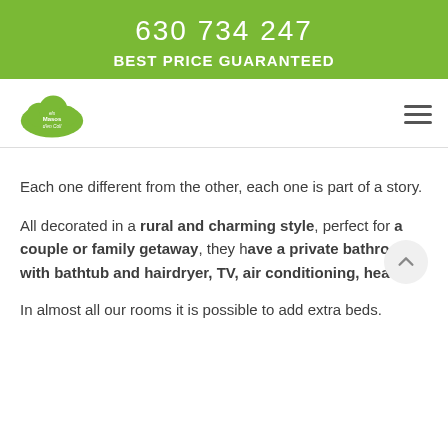630 734 247
BEST PRICE GUARANTEED
[Figure (logo): Els Masos d'en Coll green cloud logo with text]
Each one different from the other, each one is part of a story.
All decorated in a rural and charming style, perfect for a couple or family getaway, they have a private bathroom with bathtub and hairdryer, TV, air conditioning, heating.
In almost all our rooms it is possible to add extra beds.